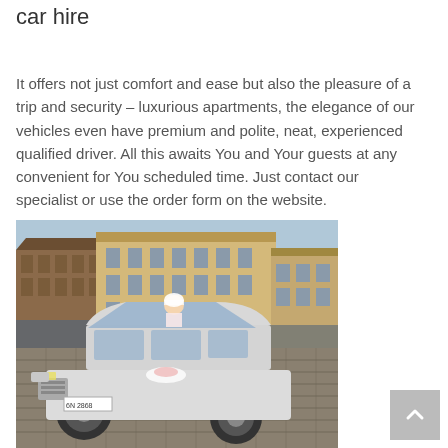car hire
It offers not just comfort and ease but also the pleasure of a trip and security – luxurious apartments, the elegance of our vehicles even have premium and polite, neat, experienced qualified driver. All this awaits You and Your guests at any convenient for You scheduled time. Just contact our specialist or use the order form on the website.
[Figure (photo): A decorated white Infiniti QX56 SUV wedding car parked in a historic European city square, with a bride visible through the sunroof and crowds of people and historic buildings in the background.]